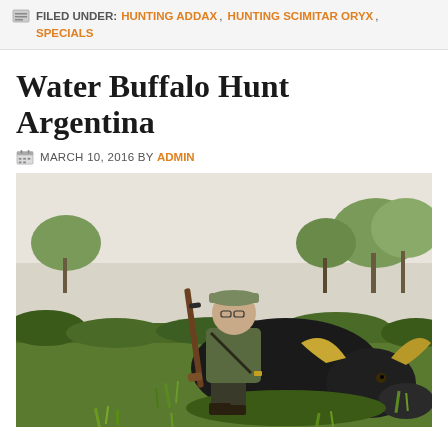FILED UNDER: HUNTING ADDAX, HUNTING SCIMITAR ORYX, SPECIALS
Water Buffalo Hunt Argentina
MARCH 10, 2016 BY ADMIN
[Figure (photo): A hunter crouching beside a harvested water buffalo, holding a scoped rifle, outdoors in a savanna-like landscape with trees in the background.]